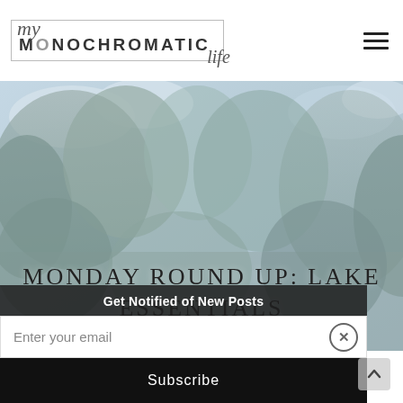[Figure (logo): My Monochromatic Life blog logo — script 'my' above, bold uppercase 'MONOCHROMATIC' in a rectangle border, italic script 'life' below right]
[Figure (photo): Outdoor nature photo showing trees with light sky, color-washed in light grey/blue tones serving as a hero banner]
MONDAY ROUND UP: LAKE ESSENTIALS
Get Notified of New Posts
Enter your email
Subscribe